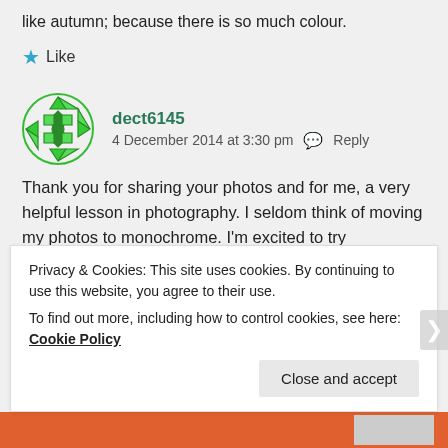like autumn; because there is so much colour.
Like
dect6145
4 December 2014 at 3:30 pm   Reply
Thank you for sharing your photos and for me, a very helpful lesson in photography. I seldom think of moving my photos to monochrome. I'm excited to try
Privacy & Cookies: This site uses cookies. By continuing to use this website, you agree to their use.
To find out more, including how to control cookies, see here: Cookie Policy
Close and accept